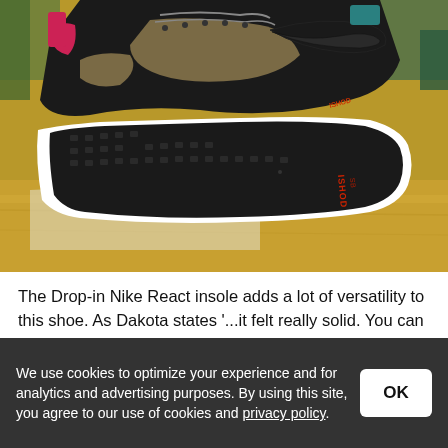[Figure (photo): Close-up photo of the sole of a Nike SB Ishod skate shoe held up showing the flat black outsole with white midsole, with the upper of the shoe visible in background on a yellow/wood surface]
The Drop-in Nike React insole adds a lot of versatility to this shoe. As Dakota states '...it felt really solid. You can jump down anything, get tech with it, and have really good boardfeel.' The lightweight and responsive cushioning elevate this model from other skate
We use cookies to optimize your experience and for analytics and advertising purposes. By using this site, you agree to our use of cookies and privacy policy.